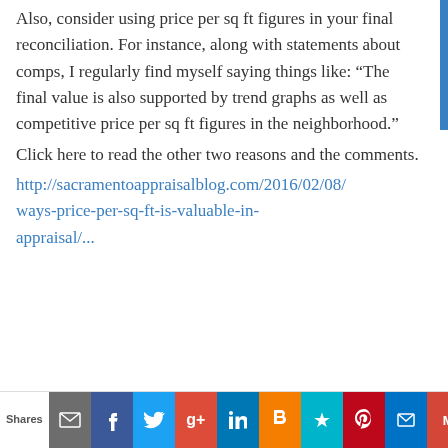Also, consider using price per sq ft figures in your final reconciliation. For instance, along with statements about comps, I regularly find myself saying things like: “The final value is also supported by trend graphs as well as competitive price per sq ft figures in the neighborhood.”

Click here to read the other two reasons and the comments.

http://sacramentoappraisalblog.com/2016/02/08/ways-price-per-sq-ft-is-valuable-in-appraisal/...
Shares | email | facebook | twitter | google+ | linkedin | blogger | bookmark | pinterest | outlook | gmail | reddit